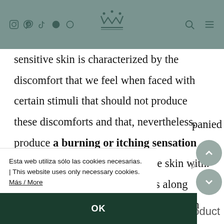Navigation header with social icons, logo, search and menu
sensitive skin is characterized by the discomfort that we feel when faced with certain stimuli that should not produce these discomforts and that, nevertheless, produce a burning or itching sensation that we usually identify sensitive skin with. Sometimes this sensation occurs along with other visible signs of irritation, such as
Esta web utiliza sólo las cookies necesarias. | This website uses only necessary cookies. Más / More
OK